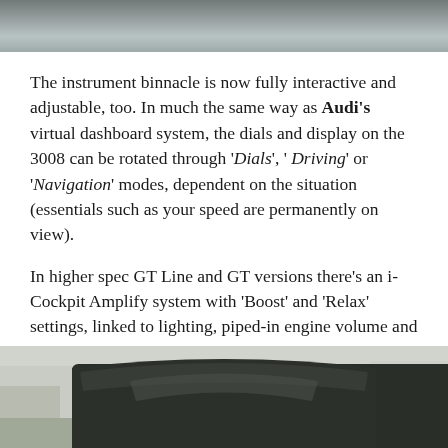[Figure (photo): Top portion of a car photo, cropped at the top of the page showing dark vehicle bodywork]
The instrument binnacle is now fully interactive and adjustable, too. In much the same way as Audi's virtual dashboard system, the dials and display on the 3008 can be rotated through 'Dials', ' Driving' or 'Navigation' modes, dependent on the situation (essentials such as your speed are permanently on view).
In higher spec GT Line and GT versions there's an i-Cockpit Amplify system with 'Boost' and 'Relax' settings, linked to lighting, piped-in engine volume and even the car's in-built air freshener system!
[Figure (photo): Bottom portion of a car photo showing the roof/top of the vehicle from above, with background scenery]